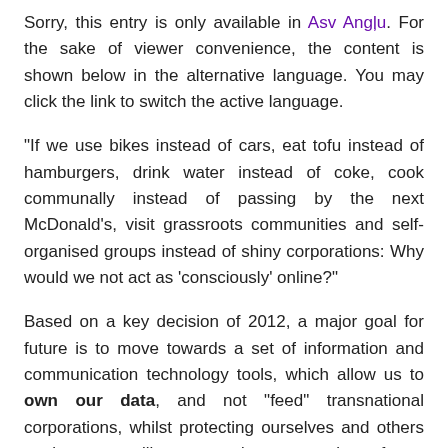Sorry, this entry is only available in Asv Angļu. For the sake of viewer convenience, the content is shown below in the alternative language. You may click the link to switch the active language.
“If we use bikes instead of cars, eat tofu instead of hamburgers, drink water instead of coke, cook communally instead of passing by the next McDonald’s, visit grassroots communities and self-organised groups instead of shiny corporations: Why would we not act as ‘consciously’ online?”
Based on a key decision of 2012, a major goal for future is to move towards a set of information and communication technology tools, which allow us to own our data, and not “feed” transnational corporations, whilst protecting ourselves and others against surveillance, and empowering future generations of Free Libre Open Source Software (FLOSS) ”communities”...